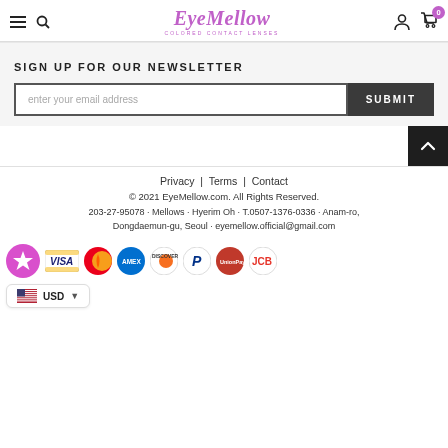EyeMellow COLORED CONTACT LENSES — navigation header with menu, search, account, cart (0)
SIGN UP FOR OUR NEWSLETTER
enter your email address
SUBMIT
Privacy | Terms | Contact
© 2021 EyeMellow.com. All Rights Reserved.
203-27-95078 · Mellows · Hyerim Oh · T.0507-1376-0336 · Anam-ro, Dongdaemun-gu, Seoul · eyemellow.official@gmail.com
[Figure (logo): Payment method icons: star/pink circle, Visa, Mastercard, American Express, Discover, PayPal, UnionPay, JCB]
USD